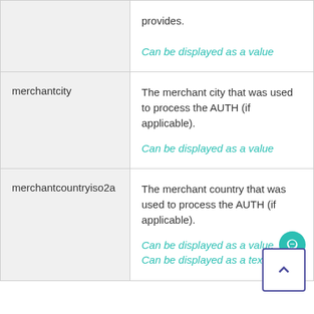| Field | Description |
| --- | --- |
|  | provides.

Can be displayed as a value |
| merchantcity | The merchant city that was used to process the AUTH (if applicable).

Can be displayed as a value |
| merchantcountryiso2a | The merchant country that was used to process the AUTH (if applicable).

Can be displayed as a value
Can be displayed as a text input |